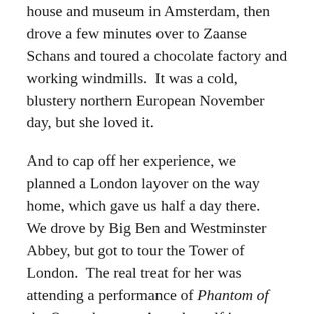house and museum in Amsterdam, then drove a few minutes over to Zaanse Schans and toured a chocolate factory and working windmills.  It was a cold, blustery northern European November day, but she loved it.
And to cap off her experience, we planned a London layover on the way home, which gave us half a day there.  We drove by Big Ben and Westminster Abbey, but got to tour the Tower of London.  The real treat for her was attending a performance of Phantom of the Opera because Anna herself is very musically gifted.
Take your grandkids with you when you plan your next mission trip!! Sure, you have to make a few adjustments, but you will plant seeds in them that may change them forever. If you haven't read Cassidy's recent post about her view of missions, you should stop and read